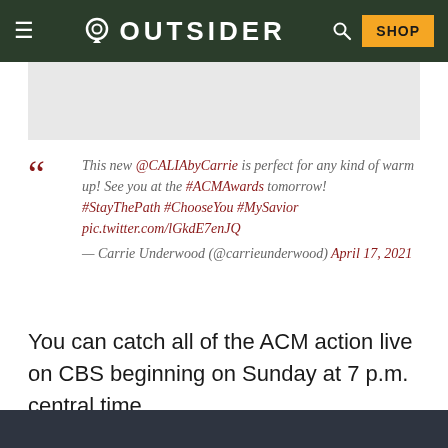OUTSIDER — SHOP
This new @CALIAbyCarrie is perfect for any kind of warm up! See you at the #ACMAwards tomorrow! #StayThePath #ChooseYou #MySavior pic.twitter.com/lGkdE7enJQ — Carrie Underwood (@carrieunderwood) April 17, 2021
You can catch all of the ACM action live on CBS beginning on Sunday at 7 p.m. central time.